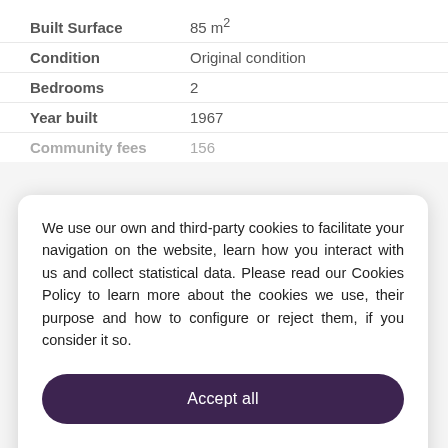| Property | Value |
| --- | --- |
| Built Surface | 85 m² |
| Condition | Original condition |
| Bedrooms | 2 |
| Year built | 1967 |
| Community fees | 156 |
We use our own and third-party cookies to facilitate your navigation on the website, learn how you interact with us and collect statistical data. Please read our Cookies Policy to learn more about the cookies we use, their purpose and how to configure or reject them, if you consider it so.
Accept all
Manage Cookies
Reject